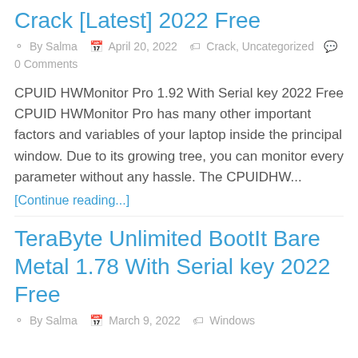Crack [Latest] 2022 Free
By Salma   April 20, 2022   Crack, Uncategorized   0 Comments
CPUID HWMonitor Pro 1.92 With Serial key 2022 Free CPUID HWMonitor Pro has many other important factors and variables of your laptop inside the principal window. Due to its growing tree, you can monitor every parameter without any hassle. The CPUIDHW...
[Continue reading...]
TeraByte Unlimited BootIt Bare Metal 1.78 With Serial key 2022 Free
By Salma   March 9, 2022   Windows